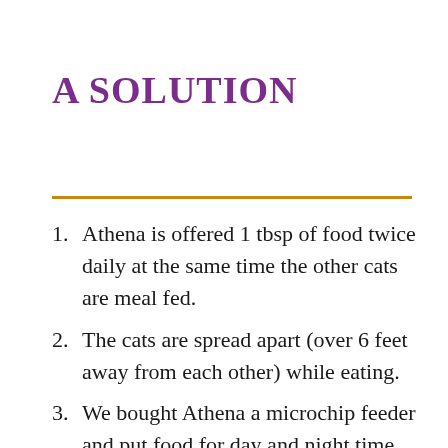A SOLUTION
Athena is offered 1 tbsp of food twice daily at the same time the other cats are meal fed.
The cats are spread apart (over 6 feet away from each other) while eating.
We bought Athena a microchip feeder and put food for day and night time grazing in it.
Her chip feeder is in the second floor